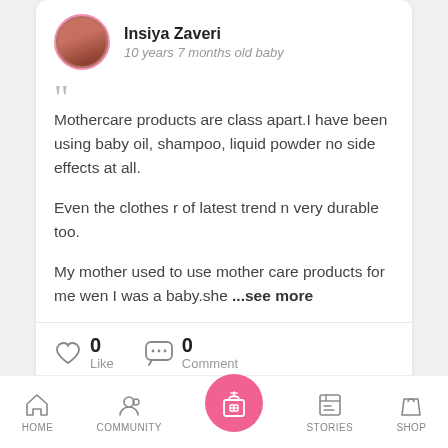Insiya Zaveri
10 years 7 months old baby
Mothercare products are class apart.I have been using baby oil, shampoo, liquid powder no side effects at all.

Even the clothes r of latest trend n very durable too.

My mother used to use mother care products for me wen I was a baby.she ...see more
0 Like
0 Comment
Write Comment here...
HOME  COMMUNITY  STORIES  SHOP